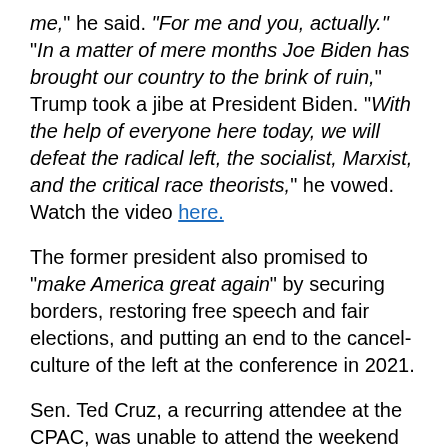me," he said. "For me and you, actually." "In a matter of mere months Joe Biden has brought our country to the brink of ruin," Trump took a jibe at President Biden. "With the help of everyone here today, we will defeat the radical left, the socialist, Marxist, and the critical race theorists," he vowed. Watch the video here.
The former president also promised to "make America great again" by securing borders, restoring free speech and fair elections, and putting an end to the cancel-culture of the left at the conference in 2021.
Sen. Ted Cruz, a recurring attendee at the CPAC, was unable to attend the weekend edition of the conference citing a "family